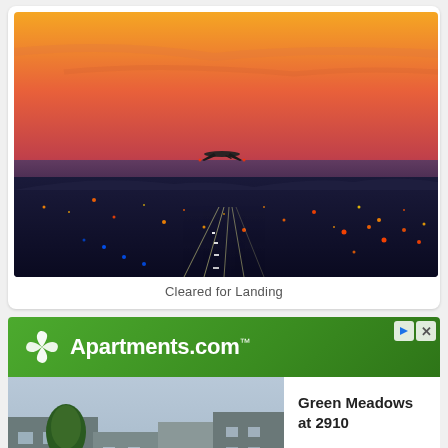[Figure (photo): Airplane cleared for landing at dusk/night with glowing orange-pink sunset sky above a lit-up cityscape and airport runway lights below]
Cleared for Landing
[Figure (logo): Apartments.com advertisement banner with green gradient background, white pinwheel logo and white text reading Apartments.com]
[Figure (photo): Green Meadows at 2910 apartment complex exterior sign photo]
Green Meadows at 2910
$849